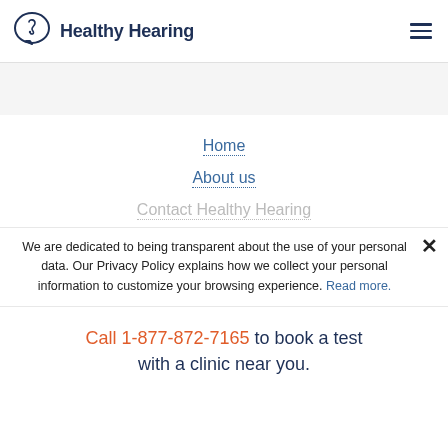[Figure (logo): Healthy Hearing logo with ear icon in a speech bubble and bold dark navy text]
Home
About us
Contact Healthy Hearing
We are dedicated to being transparent about the use of your personal data. Our Privacy Policy explains how we collect your personal information to customize your browsing experience. Read more.
Call 1-877-872-7165 to book a test with a clinic near you.